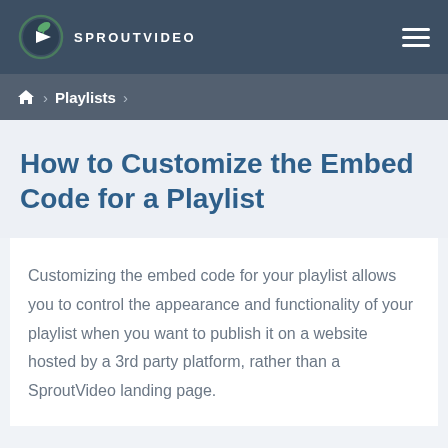SPROUTVIDEO
Playlists
How to Customize the Embed Code for a Playlist
Customizing the embed code for your playlist allows you to control the appearance and functionality of your playlist when you want to publish it on a website hosted by a 3rd party platform, rather than a SproutVideo landing page.